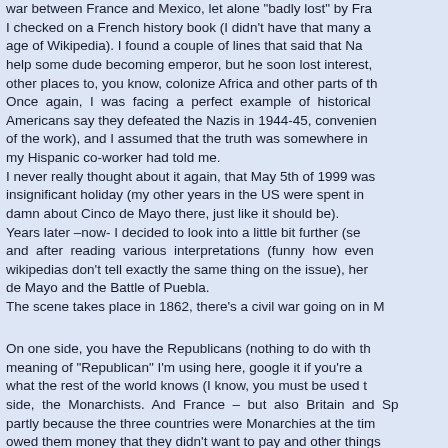war between France and Mexico, let alone "badly lost" by Fra... I checked on a French history book (I didn't have that many a... age of Wikipedia). I found a couple of lines that said that Na... help some dude becoming emperor, but he soon lost interest, other places to, you know, colonize Africa and other parts of th... Once again, I was facing a perfect example of historical Americans say they defeated the Nazis in 1944-45, convenien... of the work), and I assumed that the truth was somewhere in my Hispanic co-worker had told me. I never really thought about it again, that May 5th of 1999 was insignificant holiday (my other years in the US were spent in damn about Cinco de Mayo there, just like it should be). Years later –now- I decided to look into a little bit further (se... and after reading various interpretations (funny how even wikipedias don't tell exactly the same thing on the issue), her... de Mayo and the Battle of Puebla.
The scene takes place in 1862, there's a civil war going on in M...
On one side, you have the Republicans (nothing to do with th... meaning of "Republican" I'm using here, google it if you're a... what the rest of the world knows (I know, you must be used t... side, the Monarchists. And France – but also Britain and Sp... partly because the three countries were Monarchies at the tim... owed them money that they didn't want to pay and other things... And on May 5th 1862, in Puebla, a misunderstanding led...